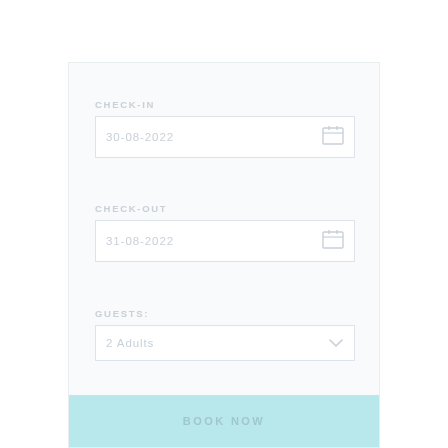CHECK-IN
30-08-2022
CHECK-OUT
31-08-2022
GUESTS:
2 Adults
BOOK NOW